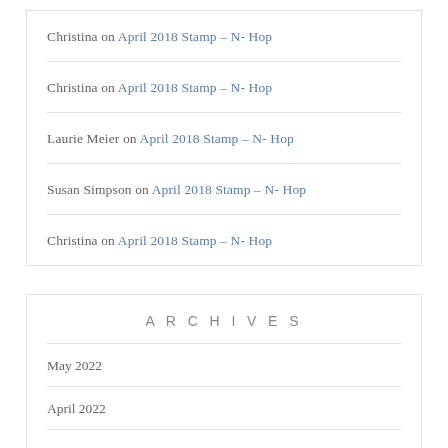Christina on April 2018 Stamp – N- Hop
Christina on April 2018 Stamp – N- Hop
Laurie Meier on April 2018 Stamp – N- Hop
Susan Simpson on April 2018 Stamp – N- Hop
Christina on April 2018 Stamp – N- Hop
ARCHIVES
May 2022
April 2022
May 2020